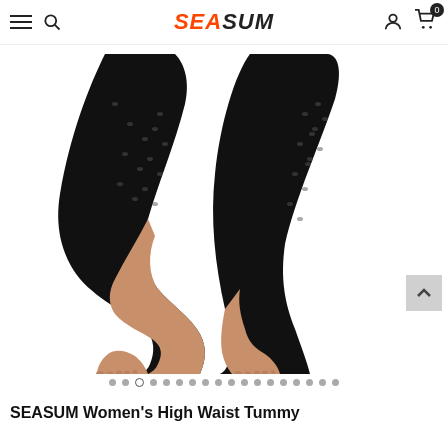SEASUM — navigation bar with hamburger menu, search icon, SEASUM logo, user icon, and cart with badge 0
[Figure (photo): Close-up photo of legs wearing black mesh/perforated high-waist leggings against a white background. One leg is raised with the foot near the other ankle, showing the textured mesh pattern on the sides of the leggings.]
[Figure (other): Carousel navigation dots — 18 dots total, third dot is active (open circle), rest are filled grey.]
SEASUM Women's High Waist Tummy